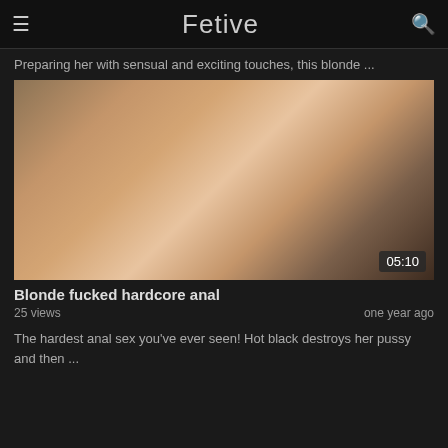Fetive
Preparing her with sensual and exciting touches, this blonde ...
[Figure (screenshot): Video thumbnail showing adult content with duration badge 05:10]
Blonde fucked hardcore anal
25 views   one year ago
The hardest anal sex you've ever seen! Hot black destroys her pussy and then ...